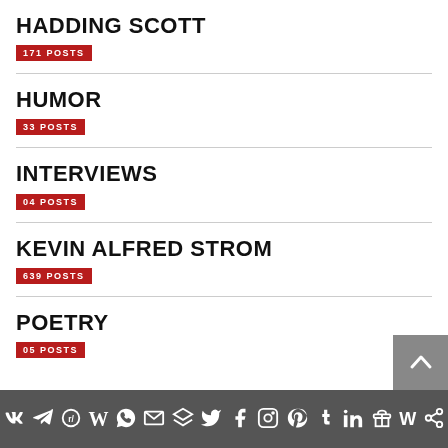HADDING SCOTT
171 POSTS
HUMOR
33 POSTS
INTERVIEWS
04 POSTS
KEVIN ALFRED STROM
639 POSTS
POETRY
05 POSTS
VK Telegram Reddit WordPress WhatsApp Email Layers Twitter Facebook Instagram Pinterest Tumblr LinkedIn Gift W Share